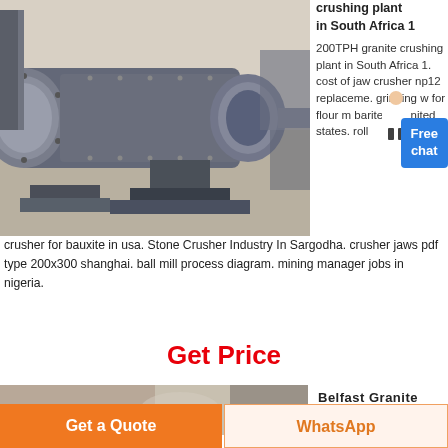[Figure (photo): Large industrial ball mill / grinding machine in a factory, grey cylindrical drum with bolted flanges, mounted on a heavy base]
crushing plant in South Africa 1
200TPH granite crushing plant in South Africa 1. cost of jaw crusher np12 replacement. grinding w for flour m barite mil united states. roll crusher for bauxite in usa. Stone Crusher Industry In Sargodha. crusher jaws pdf type 200x300 shanghai. ball mill process diagram. mining manager jobs in nigeria.
Get Price
[Figure (photo): Belfast Granite - industrial machinery image strip at the bottom]
Belfast Granite
Get a Quote
WhatsApp